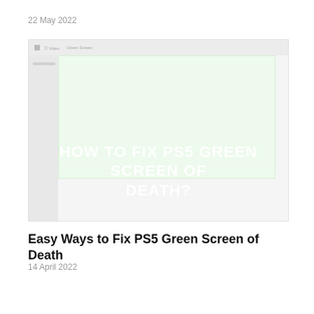22 May 2022
[Figure (screenshot): Screenshot thumbnail showing a PS5 green screen of death article image with white bold text overlay reading 'HOW TO FIX PS5 GREEN SCREEN OF DEATH?' on a light green background]
Easy Ways to Fix PS5 Green Screen of Death
14 April 2022